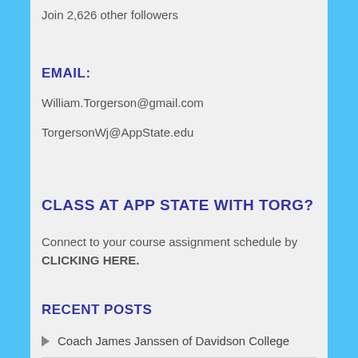Join 2,626 other followers
EMAIL:
William.Torgerson@gmail.com
TorgersonWj@AppState.edu
CLASS AT APP STATE WITH TORG?
Connect to your course assignment schedule by CLICKING HERE.
RECENT POSTS
Coach James Janssen of Davidson College